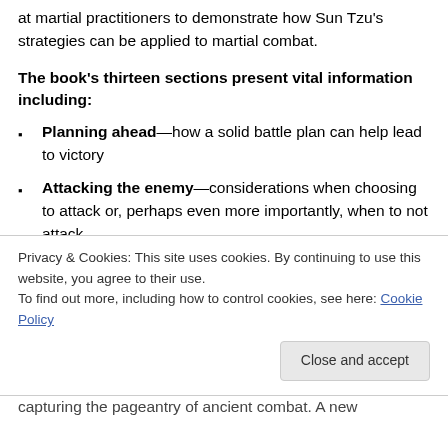at martial practitioners to demonstrate how Sun Tzu's strategies can be applied to martial combat.
The book's thirteen sections present vital information including:
Planning ahead—how a solid battle plan can help lead to victory
Attacking the enemy—considerations when choosing to attack or, perhaps even more importantly, when to not attack
Flexibility in combat—the importance of changing
Privacy & Cookies: This site uses cookies. By continuing to use this website, you agree to their use.
To find out more, including how to control cookies, see here: Cookie Policy
capturing the pageantry of ancient combat. A new